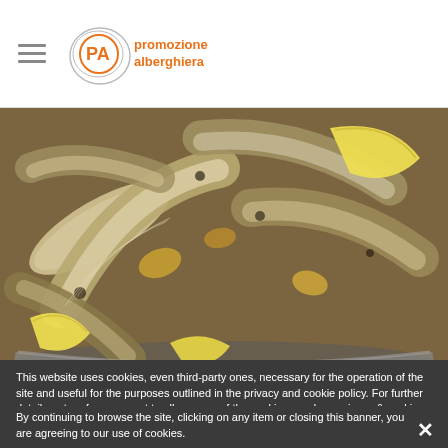[Figure (logo): Promozione Alberghiera logo with PA circular emblem and text]
[Figure (photo): Close-up photo of open clams/mussels with lemon slices in a metal bowl]
This website uses cookies, even third-party ones, necessary for the operation of the site and useful for the purposes outlined in the privacy and cookie policy. For further details or to refuse consent to all or some of the cookies, read our privacy & cookie policy.
By continuing to browse the site, clicking on any item or closing this banner, you are agreeing to our use of cookies.